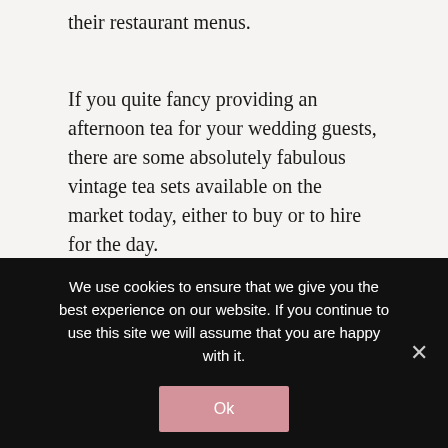their restaurant menus.
If you quite fancy providing an afternoon tea for your wedding guests, there are some absolutely fabulous vintage tea sets available on the market today, either to buy or to hire for the day.
Alternatively, why not hire someone in and get the complete package, yummy cream scones, cakes and vintage crockery in one?
We use cookies to ensure that we give you the best experience on our website. If you continue to use this site we will assume that you are happy with it.